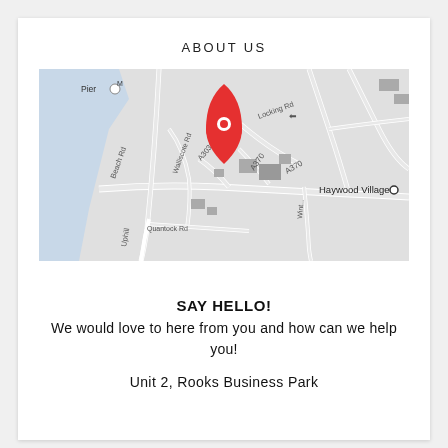ABOUT US
[Figure (map): Google Maps style grayscale street map showing Haywood Village area near Weston-super-Mare. Roads include Beach Rd, Walliscote Rd, Quantock Rd, A3033, A370, Locking Rd. A red location pin marker is placed near the centre-top of the map. Labels visible: Pier, Haywood Village.]
SAY HELLO!
We would love to here from you and how can we help you!
Unit 2, Rooks Business Park